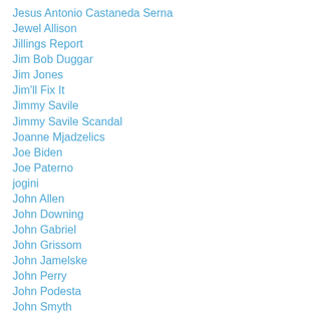Jesus Antonio Castaneda Serna
Jewel Allison
Jillings Report
Jim Bob Duggar
Jim Jones
Jim'll Fix It
Jimmy Savile
Jimmy Savile Scandal
Joanne Mjadzelics
Joe Biden
Joe Paterno
jogini
John Allen
John Downing
John Gabriel
John Grissom
John Jamelske
John Perry
John Podesta
John Smyth